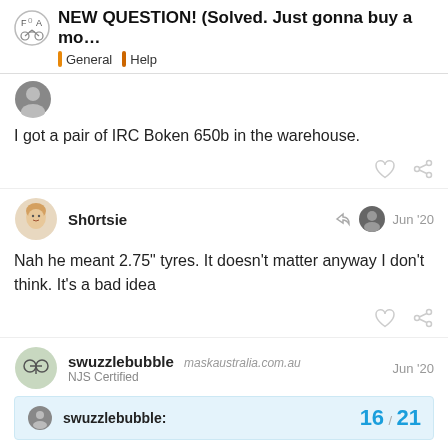NEW QUESTION! (Solved. Just gonna buy a mo... | General | Help
I got a pair of IRC Boken 650b in the warehouse.
Sh0rtsie — Jun '20
Nah he meant 2.75" tyres. It doesn't matter anyway I don't think. It's a bad idea
swuzzlebubble maskaustralia.com.au — NJS Certified — Jun '20
swuzzlebubble: 16 / 21